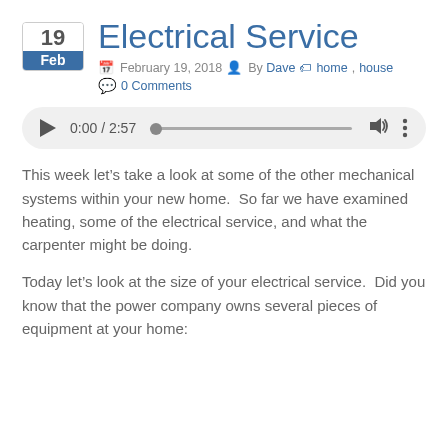Electrical Service
February 19, 2018  By Dave  home, house  0 Comments
[Figure (other): Audio player showing 0:00 / 2:57 with play button, progress bar, volume icon, and more options button]
This week let's take a look at some of the other mechanical systems within your new home.  So far we have examined heating, some of the electrical service, and what the carpenter might be doing.
Today let's look at the size of your electrical service.  Did you know that the power company owns several pieces of equipment at your home: